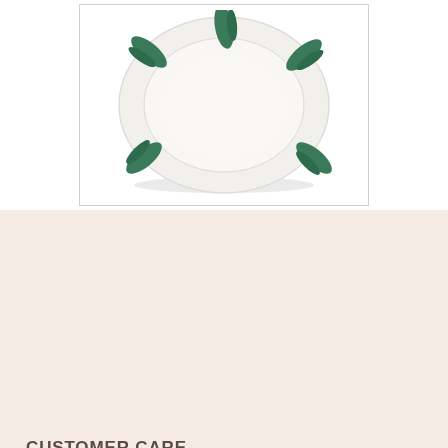[Figure (photo): White ceramic plate with green leaf/brush stroke decorations at the rim, photographed from above on a white background, inside a bordered rectangular frame]
CUSTOMER CARE
CONTACT US
CARE INSTRUCTIONS
DELIVERY & RETURNS
INFORMATION
TERMS & CONDITIONS